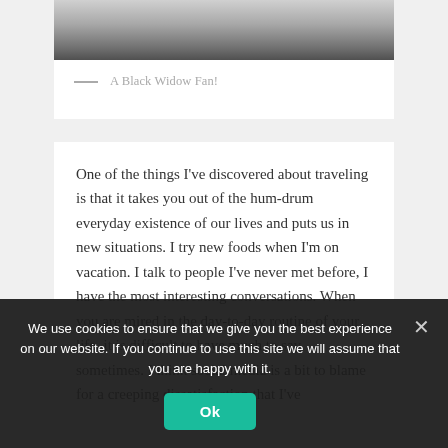[Figure (photo): Partial photo of a person, showing lower body/legs in dark clothing against a light background]
— A Black Widow Fan!
One of the things I've discovered about traveling is that it takes you out of the hum-drum everyday existence of our lives and puts us in new situations. I try new foods when I'm on vacation. I talk to people I've never met before, I have the most interesting conversations. When you are mired in the day-to-day routine of your life, it is difficult to have much to say sometimes. I think social media is a bit to blame for a creeping dissatisfaction that I've
We use cookies to ensure that we give you the best experience on our website. If you continue to use this site we will assume that you are happy with it.
Ok